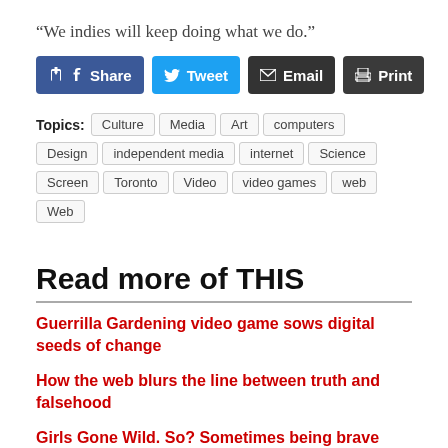“We indies will keep doing what we do.”
[Figure (infographic): Social sharing buttons: Share (Facebook, blue), Tweet (Twitter, light blue), Email (dark grey), Print (dark grey)]
Topics: Culture  Media  Art  computers  Design  independent media  internet  Science  Screen  Toronto  Video  video games  web  Web
Read more of THIS
Guerrilla Gardening video game sows digital seeds of change
How the web blurs the line between truth and falsehood
Girls Gone Wild. So? Sometimes being brave means being bad